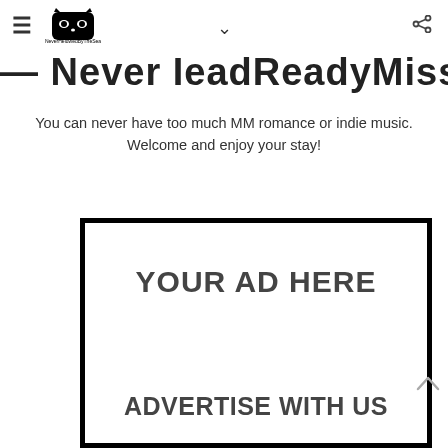≡ [NeverHoldwedByTheSea logo] ∨ ⋮
Never HeldReadyMissus
You can never have too much MM romance or indie music. Welcome and enjoy your stay!
[Figure (infographic): Advertisement placeholder box with bold text 'YOUR AD HERE' and 'ADVERTISE WITH US']